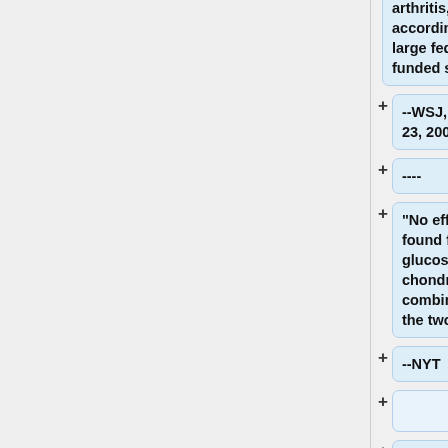arthritis, according to a large federally funded study."
--WSJ, February 23, 2006
----
"No effect was found for glucosamine, chondroitin or a combination of the two."
--NYT
"Patients who had more pain did seem to be helped by the